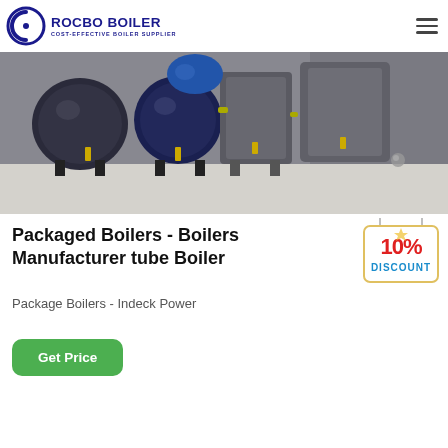ROCBO BOILER — COST-EFFECTIVE BOILER SUPPLIER
[Figure (photo): Industrial packaged boilers arranged in a factory floor, showing multiple cylindrical boiler units with blue components and yellow fittings, on a light grey floor.]
Packaged Boilers - Boilers Manufacturer tube Boiler
[Figure (infographic): 10% DISCOUNT promotional badge/sticker with red and blue text on a hanging tag graphic.]
Package Boilers - Indeck Power
Get Price